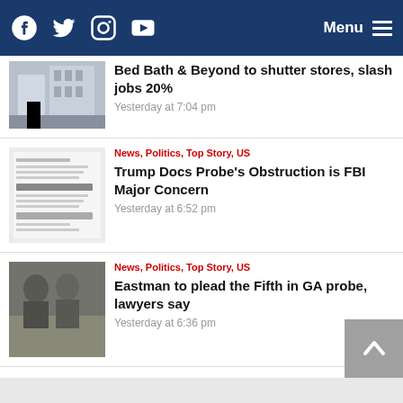Navigation bar with social icons (Facebook, Twitter, Instagram, YouTube) and Menu button
Bed Bath & Beyond to shutter stores, slash jobs 20%
Yesterday at 7:04 pm
News, Politics, Top Story, US
Trump Docs Probe’s Obstruction is FBI Major Concern
Yesterday at 6:52 pm
News, Politics, Top Story, US
Eastman to plead the Fifth in GA probe, lawyers say
Yesterday at 6:36 pm